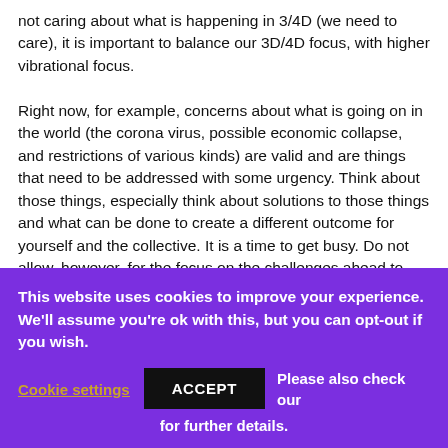not caring about what is happening in 3/4D (we need to care), it is important to balance our 3D/4D focus, with higher vibrational focus.

Right now, for example, concerns about what is going on in the world (the corona virus, possible economic collapse, and restrictions of various kinds) are valid and are things that need to be addressed with some urgency. Think about those things, especially think about solutions to those things and what can be done to create a different outcome for yourself and the collective. It is a time to get busy. Do not allow, however, for the focus on the challenges ahead to consume you to the point
This website uses cookies to improve your experience. We'll assume you're ok with this, but you can opt-out if you wish.
Cookie settings   ACCEPT   Please also check our   for further details.